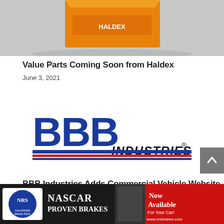[Figure (photo): Product photo showing an orange Haldex branded box/part on a gray surface]
Value Parts Coming Soon from Haldex
June 3, 2021
[Figure (logo): BBB Industries logo — large blue bold 'BBB' lettering with red and blue horizontal stripes, 'INDUSTRIES' in black italic text with registered trademark symbol]
BBB Industries Adds Commercial Vehicle Website
February 18, 2021
[Figure (photo): NRS Galvanized Brake Pads advertisement banner showing NASCAR Proven Brakes, brake pads, red car, and text 'Now Available For Your Car! www.nrsbrakes.com']